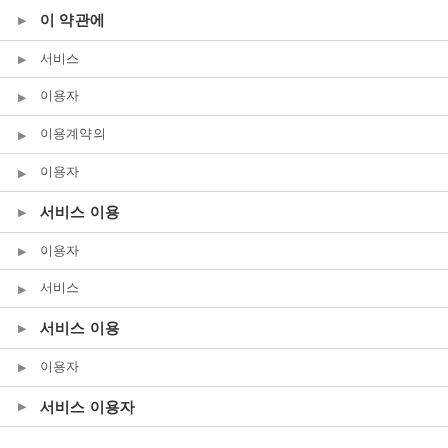이 약관에
서비스
이용자
이용계약의
이용자
서비스 이용
이용자
서비스
서비스 이용
이용자
서비스 이용자